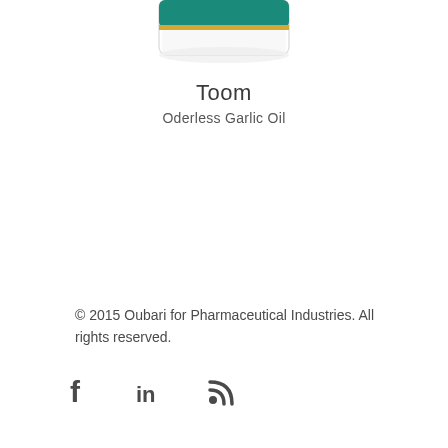[Figure (photo): Partial view of a Toom Oderless Garlic Oil product jar with teal/green lid and white body, cropped at top of page]
Toom
Oderless Garlic Oil
© 2015 Oubari for Pharmaceutical Industries. All rights reserved.
[Figure (other): Social media icons: Facebook (f), LinkedIn (in), RSS feed]